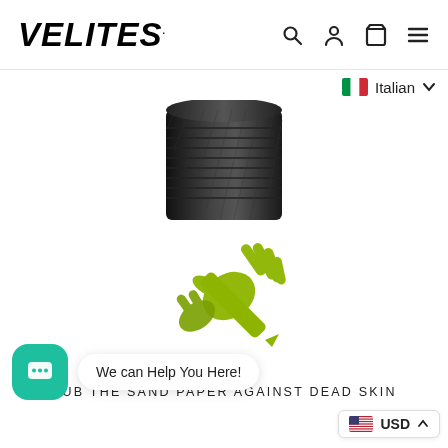VELITES
[Figure (screenshot): Navigation icons: search, profile, cart, menu]
[Figure (illustration): Italian flag with language selector dropdown showing 'Italian']
[Figure (photo): Top portion of a black metal grip/handle product]
[Figure (illustration): Yellow-green icon of hands rubbing sandpaper against skin]
RUB THE SAND PAPER AGAINST DEAD SKIN
[Figure (screenshot): Chat widget with teal icon and bubble saying 'We can Help You Here!']
[Figure (screenshot): Currency selector showing US flag and USD with arrow]